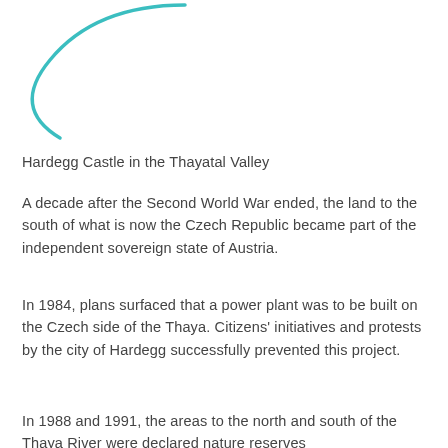[Figure (illustration): Partial circular arc shape in teal/cyan color, showing the bottom-left portion of a circle outline, cropped at the top-left of the page.]
Hardegg Castle in the Thayatal Valley
A decade after the Second World War ended, the land to the south of what is now the Czech Republic became part of the independent sovereign state of Austria.
In 1984, plans surfaced that a power plant was to be built on the Czech side of the Thaya. Citizens' initiatives and protests by the city of Hardegg successfully prevented this project.
In 1988 and 1991, the areas to the north and south of the Thaya River were declared nature reserves